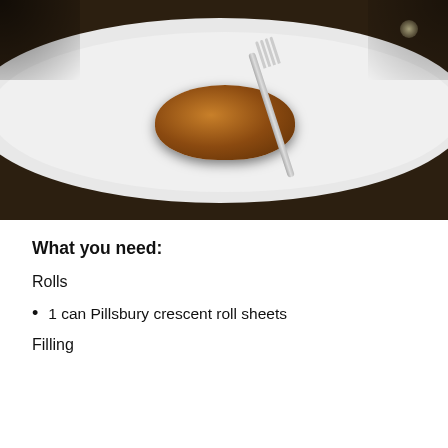[Figure (photo): A glazed pastry roll on a white plate with a fork, photographed in dim lighting]
What you need:
Rolls
1 can Pillsbury crescent roll sheets
Filling